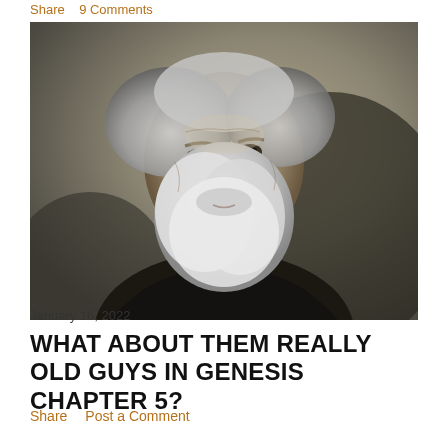Share  9 Comments
[Figure (photo): Portrait of a very old man with long white hair and a long white beard, wearing dark clothing, looking upward against a blurred grey-brown background. Black and white style photo with subtle color tones.]
January 16, 2022
WHAT ABOUT THEM REALLY OLD GUYS IN GENESIS CHAPTER 5?
Share  Post a Comment